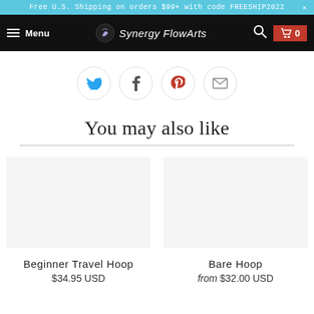Free U.S. Shipping on orders $99+ with code FREESHIP2022 ×
Menu  Synergy FlowArts  🔍  0
[Figure (infographic): Social share buttons: Twitter (bird icon), Facebook (f icon), Pinterest (p icon), Email (envelope icon)]
You may also like
Beginner Travel Hoop
$34.95 USD
Bare Hoop
from $32.00 USD